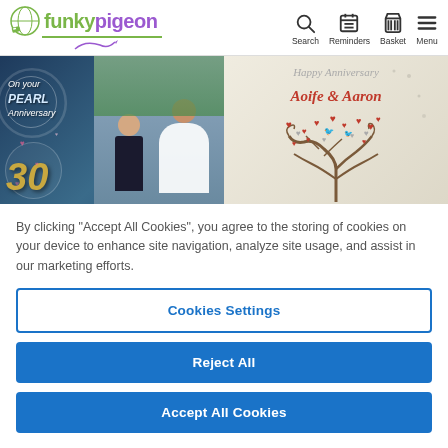funkypigeon — Search, Reminders, Basket, Menu
[Figure (photo): Banner image showing two greeting card products: left side shows a dark blue '30 Pearl Anniversary' card with a wedding couple photo, right side shows a 'Happy Anniversary Aoife & Aaron' card with a decorative tree with hearts]
By clicking "Accept All Cookies", you agree to the storing of cookies on your device to enhance site navigation, analyze site usage, and assist in our marketing efforts.
Cookies Settings
Reject All
Accept All Cookies